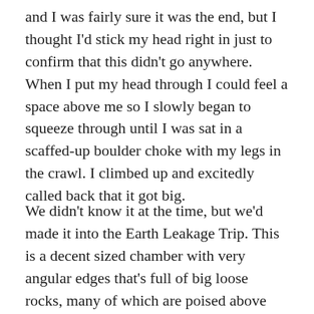and I was fairly sure it was the end, but I thought I'd stick my head right in just to confirm that this didn't go anywhere. When I put my head through I could feel a space above me so I slowly began to squeeze through until I was sat in a scaffed-up boulder choke with my legs in the crawl. I climbed up and excitedly called back that it got big.
We didn't know it at the time, but we'd made it into the Earth Leakage Trip. This is a decent sized chamber with very angular edges that's full of big loose rocks, many of which are poised above the climb that is the only way in. We had a look at all the crawls leading on in various directions, but none of them went far. While I was poking my head down a hole in a crawl that I believe is an abandoned dig going to a tight rift